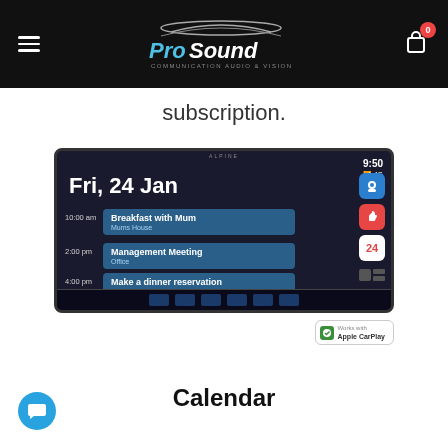ProSound Communication Audio & Vision
subscription.
[Figure (screenshot): Alpine car head unit displaying Apple CarPlay calendar interface showing Fri, 24 Jan with events: 10:00 am Breakfast with Mum at Mums House, 2:00 pm Management Meeting at Office, 4:00 pm Make a dinner reservation at Andys House of Burgers. Time shows 9:50 with 4G signal. Works with Apple CarPlay badge shown.]
Calendar